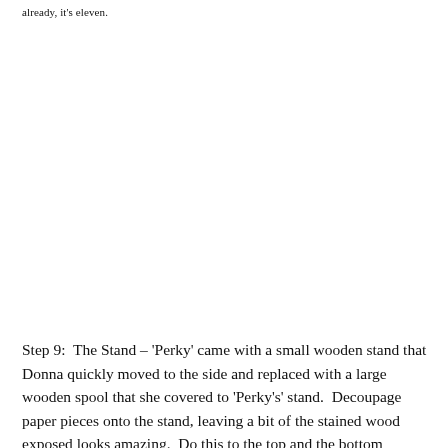already, it's eleven.
Step 9:  The Stand – 'Perky' came with a small wooden stand that Donna quickly moved to the side and replaced with a large wooden spool that she covered to 'Perky's' stand.  Decoupage paper pieces onto the stand, leaving a bit of the stained wood exposed looks amazing.  Do this to the top and the bottom sections.